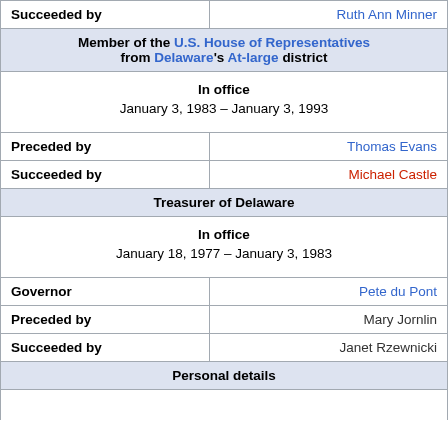| Succeeded by | Ruth Ann Minner |
| Member of the U.S. House of Representatives from Delaware's At-large district |  |
| In office |  |
| January 3, 1983 – January 3, 1993 |  |
| Preceded by | Thomas Evans |
| Succeeded by | Michael Castle |
| Treasurer of Delaware |  |
| In office |  |
| January 18, 1977 – January 3, 1983 |  |
| Governor | Pete du Pont |
| Preceded by | Mary Jornlin |
| Succeeded by | Janet Rzewnicki |
| Personal details |  |